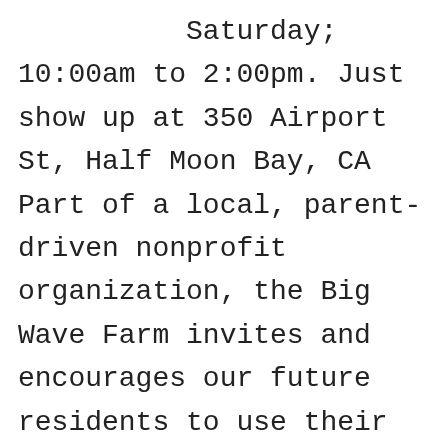Saturday; 10:00am to 2:00pm. Just show up at 350 Airport St, Half Moon Bay, CA Part of a local, parent-driven nonprofit organization, the Big Wave Farm invites and encourages our future residents to use their gifts and abilities, learn new skills, and integrate the Big Wave special needs community into our greater community.   The Big Wave Farm: Our Mission. We are developing, maintaining, and improving a